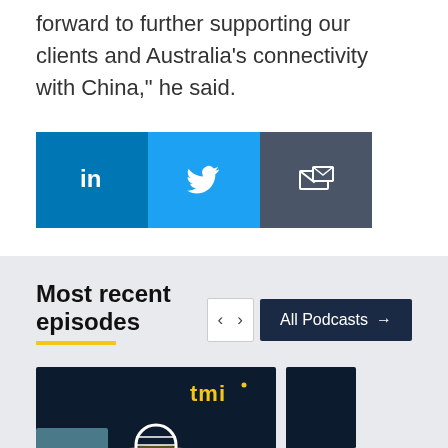forward to further supporting our clients and Australia's connectivity with China," he said.
[Figure (infographic): Social share buttons: LinkedIn (blue), Twitter (light blue), Email (dark grey)]
Most recent episodes
[Figure (infographic): Navigation arrows (left/right) and 'All Podcasts →' button on dark navy background]
[Figure (photo): TMI podcast card with microphone illustration on dark navy background with gold/yellow decorative elements and TMI logo]
[Figure (photo): Partially visible second podcast card on dark navy background with gold curve element]